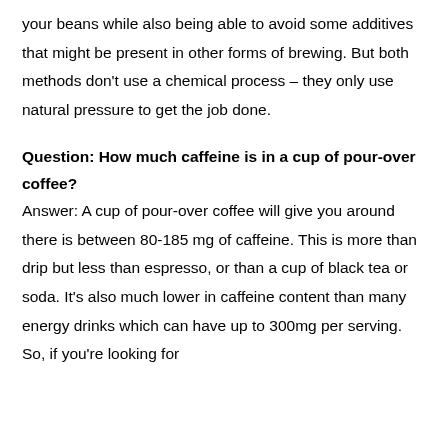your beans while also being able to avoid some additives that might be present in other forms of brewing. But both methods don't use a chemical process – they only use natural pressure to get the job done.
Question: How much caffeine is in a cup of pour-over coffee?
Answer: A cup of pour-over coffee will give you around there is between 80-185 mg of caffeine. This is more than drip but less than espresso, or than a cup of black tea or soda. It's also much lower in caffeine content than many energy drinks which can have up to 300mg per serving. So, if you're looking for